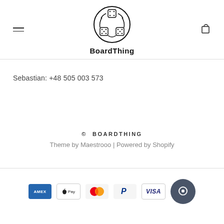[Figure (logo): BoardThing logo: circular emblem with dice forming a recycling symbol, text 'BoardThing' below]
Sebastian: +48 505 003 573
© BOARDTHING
Theme by Maestrooo | Powered by Shopify
[Figure (other): Payment method icons: American Express, Apple Pay, Mastercard, PayPal, Visa]